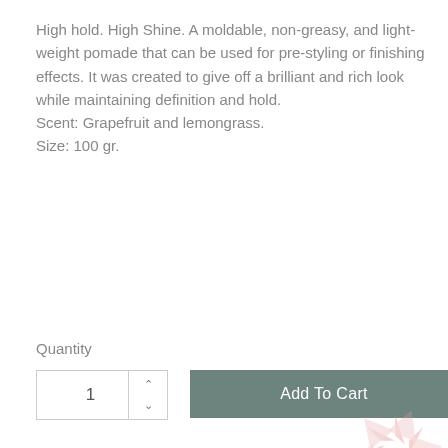High hold. High Shine. A moldable, non-greasy, and light-weight pomade that can be used for pre-styling or finishing effects. It was created to give off a brilliant and rich look while maintaining definition and hold. Scent: Grapefruit and lemongrass. Size: 100 gr.
Quantity
1
Add To Cart
Description
Product Details
High hold. High Shine. A moldable, non-greasy,